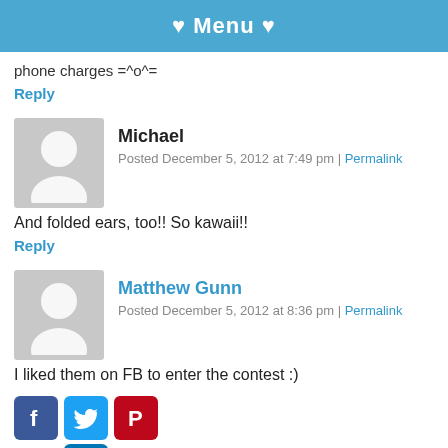♥ Menu ♥
phone charges =^o^=
Reply
[Figure (other): Generic user avatar placeholder (gray background with white silhouette)]
Michael
Posted December 5, 2012 at 7:49 pm | Permalink
And folded ears, too!! So kawaii!!
Reply
[Figure (other): Generic user avatar placeholder (gray background with white silhouette)]
Matthew Gunn
Posted December 5, 2012 at 8:36 pm | Permalink
I liked them on FB to enter the contest :)
[Figure (infographic): Social media sharing icons: Facebook (blue), Twitter (blue), Pinterest (red), LinkedIn (blue)]